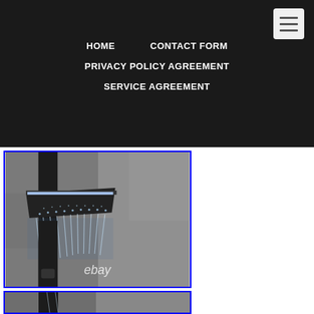HOME   CONTACT FORM   PRIVACY POLICY AGREEMENT   SERVICE AGREEMENT
[Figure (photo): Black shower panel with LED rain shower head running water, waterfall style, shown against a gray tile wall. eBay watermark visible at bottom.]
[Figure (photo): Partial view of a second shower panel photo at the bottom of the page.]